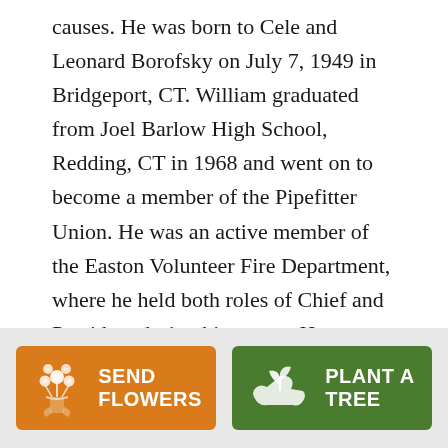causes. He was born to Cele and Leonard Borofsky on July 7, 1949 in Bridgeport, CT. William graduated from Joel Barlow High School, Redding, CT in 1968 and went on to become a member of the Pipefitter Union. He was an active member of the Easton Volunteer Fire Department, where he held both roles of Chief and President during his tenure. He was married to Laura Borofsky in 1996. He lived with Laura in Ridgefield, CT prior to retiring to Surfside Beach, SC.
William is survived by his wife, Laura, of Surfside
[Figure (infographic): Two call-to-action buttons: an orange 'Send Flowers' button with a flower bouquet icon, and a green 'Plant a Tree' button with a seedling/hand icon.]